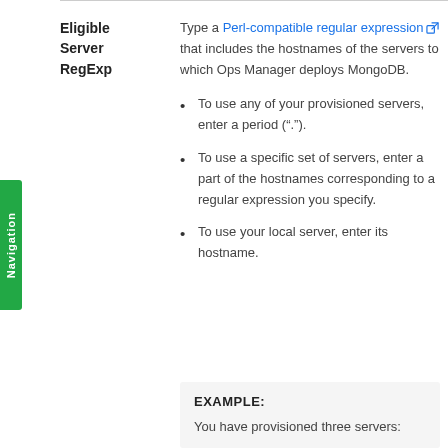Eligible Server RegExp
Type a Perl-compatible regular expression that includes the hostnames of the servers to which Ops Manager deploys MongoDB.
To use any of your provisioned servers, enter a period (".").
To use a specific set of servers, enter a part of the hostnames corresponding to a regular expression you specify.
To use your local server, enter its hostname.
EXAMPLE: You have provisioned three servers: